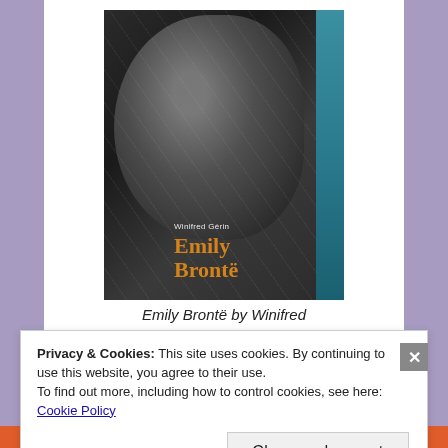[Figure (photo): A worn book cover showing 'Emily Bronte by Winifred Gerin' — a dark-toned vintage book with a profile portrait of a woman on the cover, title in orange text, lying next to a blue book. The cover is cracked and aged.]
Emily Brontë by Winifred
Privacy & Cookies: This site uses cookies. By continuing to use this website, you agree to their use.
To find out more, including how to control cookies, see here: Cookie Policy
Close and accept